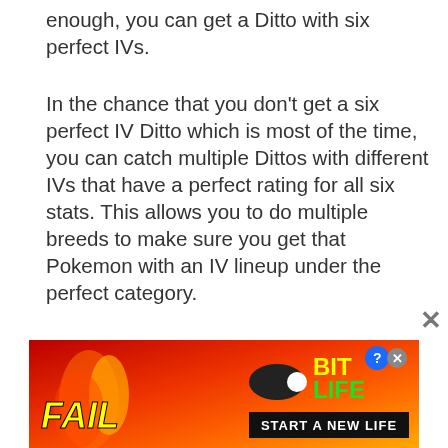enough, you can get a Ditto with six perfect IVs.
In the chance that you don't get a six perfect IV Ditto which is most of the time, you can catch multiple Dittos with different IVs that have a perfect rating for all six stats. This allows you to do multiple breeds to make sure you get that Pokemon with an IV lineup under the perfect category.
Step 4: Catching a Ditto with the desired Nature
Knowing how to breed Perfect IV Pokemon in Sword and Shield takes a long time doesn't it because we're not done yet. Now, you need to have a Ditto with the desire...
[Figure (other): Advertisement banner: BitLife 'Start a New Life' game ad with fire background, FAIL text, cartoon character, and game logo]